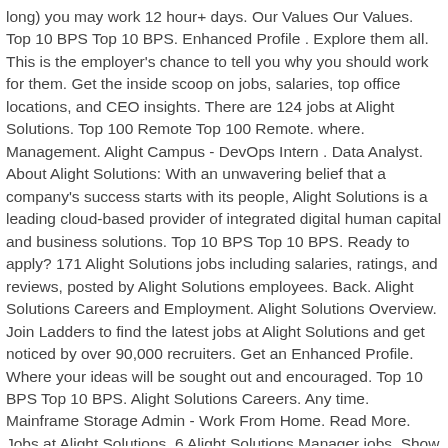long) you may work 12 hour+ days. Our Values Our Values. Top 10 BPS Top 10 BPS. Enhanced Profile . Explore them all. This is the employer's chance to tell you why you should work for them. Get the inside scoop on jobs, salaries, top office locations, and CEO insights. There are 124 jobs at Alight Solutions. Top 100 Remote Top 100 Remote. where. Management. Alight Campus - DevOps Intern . Data Analyst. About Alight Solutions: With an unwavering belief that a company's success starts with its people, Alight Solutions is a leading cloud-based provider of integrated digital human capital and business solutions. Top 10 BPS Top 10 BPS. Ready to apply? 171 Alight Solutions jobs including salaries, ratings, and reviews, posted by Alight Solutions employees. Back. Alight Solutions Careers and Employment. Alight Solutions Overview. Join Ladders to find the latest jobs at Alight Solutions and get noticed by over 90,000 recruiters. Get an Enhanced Profile. Where your ideas will be sought out and encouraged. Top 10 BPS Top 10 BPS. Alight Solutions Careers. Any time. Mainframe Storage Admin - Work From Home. Read More. Jobs at Alight Solutions. 6 Alight Solutions Manager jobs. Show more categories. 2 days ago. Data Quality Analyst I. Dallas, TX. Job Work/Life ... 13 jobs. Founded 2017. Headquarters Lincolnshire, IL (US) Size 10000+ employees. See all available jobs. We Are Alight